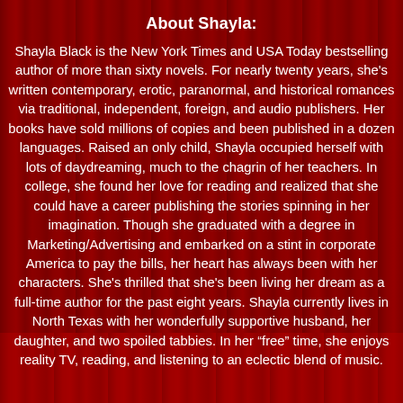About Shayla:
Shayla Black is the New York Times and USA Today bestselling author of more than sixty novels. For nearly twenty years, she’s written contemporary, erotic, paranormal, and historical romances via traditional, independent, foreign, and audio publishers. Her books have sold millions of copies and been published in a dozen languages. Raised an only child, Shayla occupied herself with lots of daydreaming, much to the chagrin of her teachers. In college, she found her love for reading and realized that she could have a career publishing the stories spinning in her imagination. Though she graduated with a degree in Marketing/Advertising and embarked on a stint in corporate America to pay the bills, her heart has always been with her characters. She’s thrilled that she’s been living her dream as a full-time author for the past eight years. Shayla currently lives in North Texas with her wonderfully supportive husband, her daughter, and two spoiled tabbies. In her “free” time, she enjoys reality TV, reading, and listening to an eclectic blend of music.